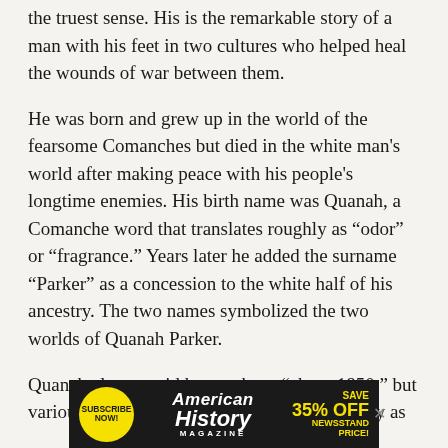the truest sense. His is the remarkable story of a man with his feet in two cultures who helped heal the wounds of war between them.
He was born and grew up in the world of the fearsome Comanches but died in the white man's world after making peace with his people's longtime enemies. His birth name was Quanah, a Comanche word that translates roughly as “odor” or “fragrance.” Years later he added the surname “Parker” as a concession to the white half of his ancestry. The two names symbolized the two worlds of Quanah Parker.
Quanah always said he was born “about 1850,” but various historians have placed the date as early as
[Figure (other): Advertisement banner for American History Magazine: Subscribe Now button (yellow circle), American History Magazine title, Save 35% Off Newsstand Price text in yellow]